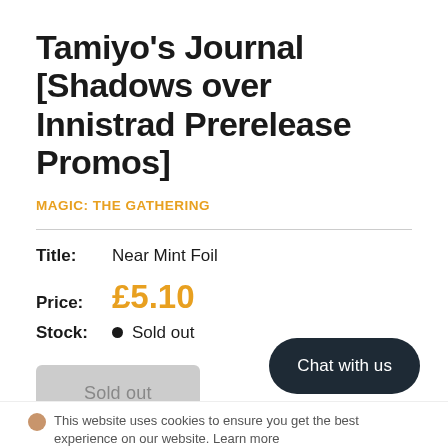Tamiyo's Journal [Shadows over Innistrad Prerelease Promos]
MAGIC: THE GATHERING
Title: Near Mint Foil
Price: £5.10
Stock: Sold out
Sold out
Chat with us
This website uses cookies to ensure you get the best experience on our website. Learn more